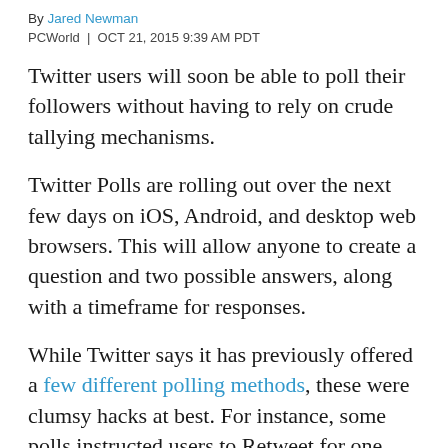By Jared Newman
PCWorld | OCT 21, 2015 9:39 AM PDT
Twitter users will soon be able to poll their followers without having to rely on crude tallying mechanisms.
Twitter Polls are rolling out over the next few days on iOS, Android, and desktop web browsers. This will allow anyone to create a question and two possible answers, along with a timeframe for responses.
While Twitter says it has previously offered a few different polling methods, these were clumsy hacks at best. For instance, some polls instructed users to Retweet for one choice and Favorite for another, while others created a hashtag under which users were supposed to type out their responses.